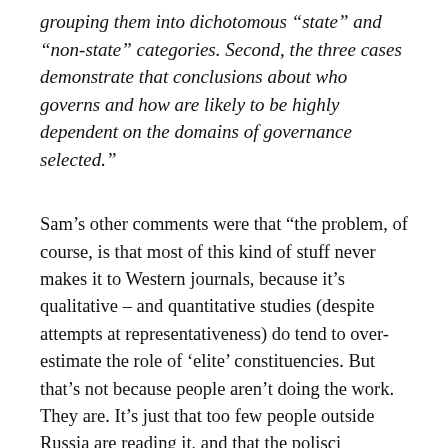grouping them into dichotomous “state” and “non-state” categories. Second, the three cases demonstrate that conclusions about who governs and how are likely to be highly dependent on the domains of governance selected.”
Sam’s other comments were that “the problem, of course, is that most of this kind of stuff never makes it to Western journals, because it’s qualitative – and quantitative studies (despite attempts at representativeness) do tend to over-estimate the role of ‘elite’ constituencies. But that’s not because people aren’t doing the work. They are. It’s just that too few people outside Russia are reading it, and that the polisci establishment even in Russia is broadly not reading it.”
Does war mean making the case that – survey work aside – small-scale sociological work is more important than ever? Yes, it does. The kind of sociology that Clément proposes is